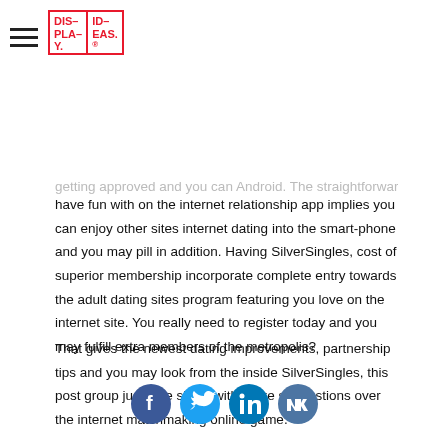Display Ideas logo and hamburger menu
getting approved and you can Android. The straightforward to have fun with on the internet relationship app implies you can enjoy other sites internet dating into the smart-phone and you may pill in addition. Having SilverSingles, cost of superior membership incorporate complete entry towards the adult dating sites program featuring you love on the internet site. You really need to register today and you may fulfill extra members of the metropolis?
That gives the newest dating improvements, partnership tips and you may look from the inside SilverSingles, this post group just take share with make suggestions over the internet matchmaking online game.
[Figure (other): Social sharing icons: Facebook, Twitter, LinkedIn, VK]